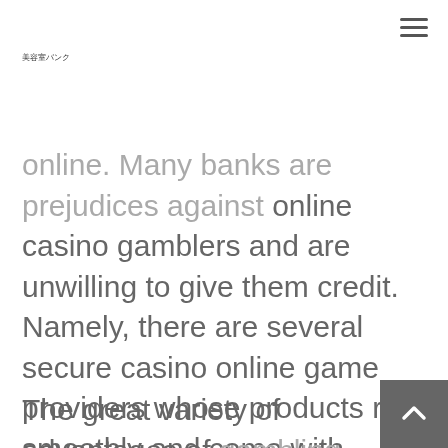美容室バンク
online. Many banks are prejudices against online casino gamblers and are unwilling to give them credit. Namely, there are several secure casino online game providers whose products run smoothly and come with hundreds of games. Therefore, one crucial sign of top casinos UK is partnerships with leading software developers such as Microgaming, NetEnt and Playtech.
The great variety of advantages of gambling at Fortune Clock include mor…